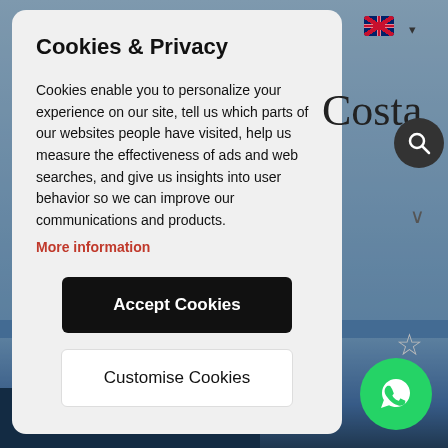[Figure (screenshot): Background of a real estate website showing 'Costa' text, search icon, language selector with UK flag, chevron dropdown, star icon, building photo, and WhatsApp chat button]
Cookies & Privacy
Cookies enable you to personalize your experience on our site, tell us which parts of our websites people have visited, help us measure the effectiveness of ads and web searches, and give us insights into user behavior so we can improve our communications and products.
More information
Accept Cookies
Customise Cookies